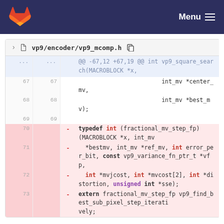vp9/encoder/vp9_mcomp.h — GitLab Menu
vp9/encoder/vp9_mcomp.h
| old | new | op | code |
| --- | --- | --- | --- |
| ... | ... |  | @@ -67,12 +67,19 @@ int vp9_square_search(MACROBLOCK *x, |
| 67 | 67 |  |                         int_mv *center_mv, |
| 68 | 68 |  |                         int_mv *best_mv); |
| 69 | 69 |  |  |
| 70 |  | - | typedef int (fractional_mv_step_fp)(MACROBLOCK *x, int_mv |
| 71 |  | - |   *bestmv, int_mv *ref_mv, int error_per_bit, const vp9_variance_fn_ptr_t *vfp, |
| 72 |  | - |   int *mvjcost, int *mvcost[2], int *distortion, unsigned int *sse); |
| 73 |  | - | extern fractional_mv_step_fp vp9_find_best_sub_pixel_step_iteratively; |